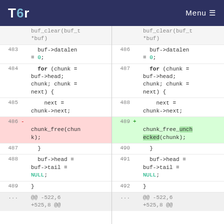Tor — Menu
[Figure (screenshot): Side-by-side code diff view showing changes in buf_clear function. Left pane shows original code (lines 483-489+), right pane shows modified code (lines 486-492+). Line 486 on left has 'chunk_free(chunk);' removed (red background), line 489 on right has 'chunk_free_unchecked(chunk);' added (green background).]